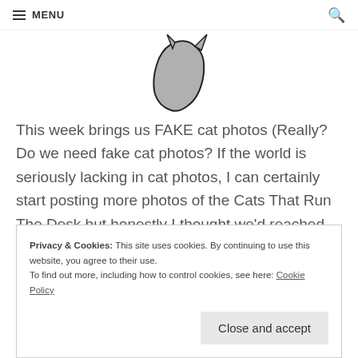MENU
[Figure (illustration): Partial view of a stylized cat illustration in grayscale, showing part of the cat's body and tail]
This week brings us FAKE cat photos (Really? Do we need fake cat photos? If the world is seriously lacking in cat photos, I can certainly start posting more photos of the Cats That Run The Desk but honestly I thought we'd reached cat-capacity on the internet… but no. Now we have FAKE CAT NEWS! What is the world coming to?), lots of BENU pens, Van Diemans inks and news from the
Privacy & Cookies: This site uses cookies. By continuing to use this website, you agree to their use.
To find out more, including how to control cookies, see here: Cookie Policy
Close and accept